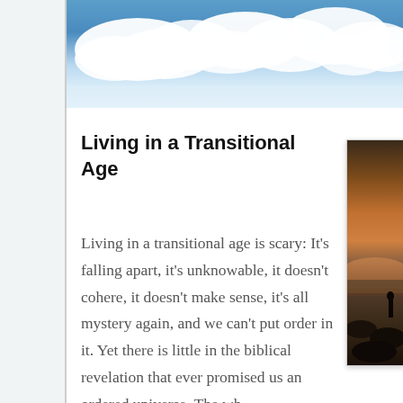[Figure (photo): Sky with blue tones and white cumulus clouds, wide panoramic banner at the top of the page]
Living in a Transitional Age
[Figure (photo): A person standing on a rocky beach under a dramatic orange and purple sunset sky, viewed from the side]
Living in a transitional age is scary: It's falling apart, it's unknowable, it doesn't cohere, it doesn't make sense, it's all mystery again, and we can't put order in it. Yet there is little in the biblical revelation that ever promised us an ordered universe. The wh